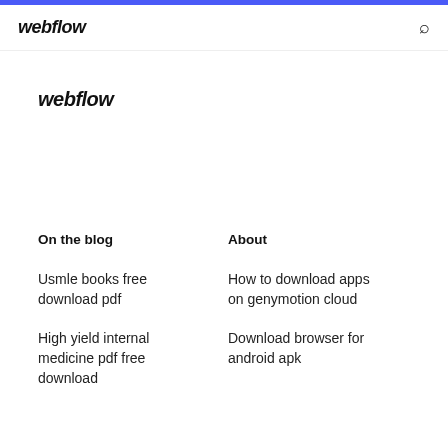webflow
webflow
On the blog
About
Usmle books free download pdf
High yield internal medicine pdf free download
How to download apps on genymotion cloud
Download browser for android apk